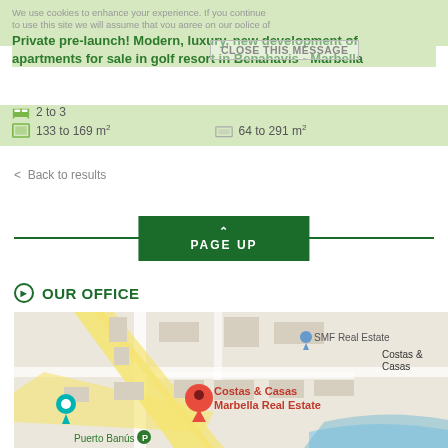We use cookies to enhance your experience. If you continue to use this site we will assume that you agree on our police of cookies.
Private pre-launch! Modern, luxury, new development of apartments for sale in golf resort in Benahavis - Marbella
CLOSE THIS MESSAGE
2 to 3
133 to 169 m²
64 to 291 m²
< Back to results
PAGE UP
OUR OFFICE
[Figure (map): Google Maps screenshot showing SMF Real Estate / Costas & Casas Marbella Real Estate office location near Puerto Banús, with red pin marker, teal location icon, and street map with yellow roads and blue waterway.]